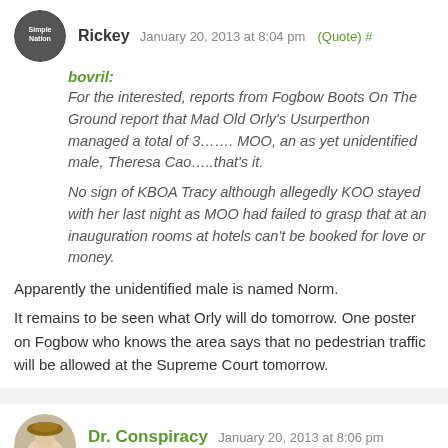Rickey January 20, 2013 at 8:04 pm (Quote) #
bovril: For the interested, reports from Fogbow Boots On The Ground report that Mad Old Orly’s Usurperthon managed a total of 3……. MOO, an as yet unidentified male, Theresa Cao…..that’s it.

No sign of KBOA Tracy although allegedly KOO stayed with her last night as MOO had failed to grasp that at an inauguration rooms at hotels can’t be booked for love or money.
Apparently the unidentified male is named Norm.
It remains to be seen what Orly will do tomorrow. One poster on Fogbow who knows the area says that no pedestrian traffic will be allowed at the Supreme Court tomorrow.
Dr. Conspiracy January 20, 2013 at 8:06 pm (Quote) #
No, I do not remember Richard Nixon being impeached.